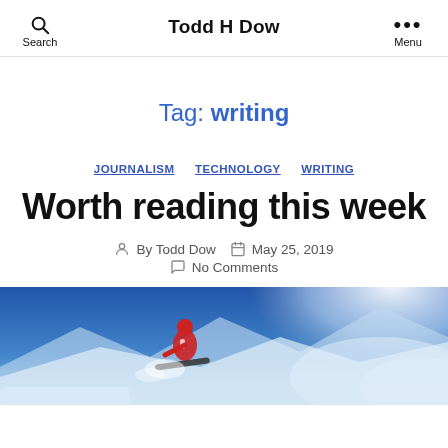Todd H Dow
Tag: writing
JOURNALISM  TECHNOLOGY  WRITING
Worth reading this week
By Todd Dow  May 25, 2019  No Comments
[Figure (photo): A person snowboarding or skiing in wintry mountainous conditions, wearing a red and white outfit, with bright light and snow/clouds in background]